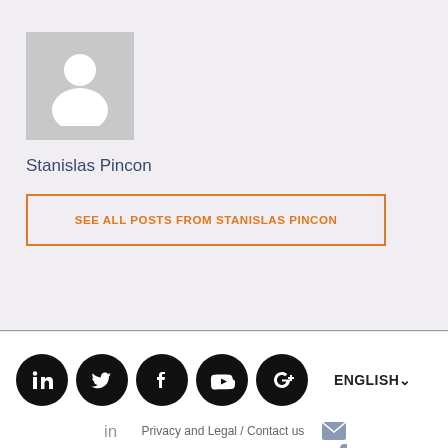[Figure (illustration): Gray placeholder avatar silhouette on gray square background representing a user profile photo]
Stanislas Pincon
SEE ALL POSTS FROM STANISLAS PINCON
[Figure (illustration): Row of five black circular social media icons: LinkedIn, Twitter, Facebook, YouTube, Google+, followed by ENGLISH language selector with dropdown arrow]
Privacy and Legal / Contact us
Copyright © 2022 Training Orchestra